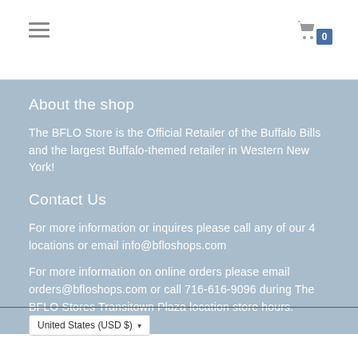Navigation header with hamburger menu and shopping cart with badge 0
About the shop
The BFLO Store is the Official Retailer of the Buffalo Bills and the largest Buffalo-themed retailer in Western New York!
Contact Us
For more information or inquires please call any of our 4 locations or email info@bfloshops.com
For more information on online orders please email orders@bfloshops.com or call 716-616-9096 during The BFLO Stores Transitown Plaza location store hours.
United States (USD $)